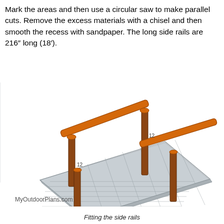Mark the areas and then use a circular saw to make parallel cuts. Remove the excess materials with a chisel and then smooth the recess with sandpaper. The long side rails are 216″ long (18’).
[Figure (illustration): 3D perspective illustration of a wooden bridge/walkway structure showing side rails mounted on posts over a plank deck. The rails and posts are brown/orange colored, the deck is light grey with horizontal plank lines. Dimension labels '12' appear on two posts. Watermark 'MyOutdoorPlans.com' at bottom left.]
Fitting the side rails